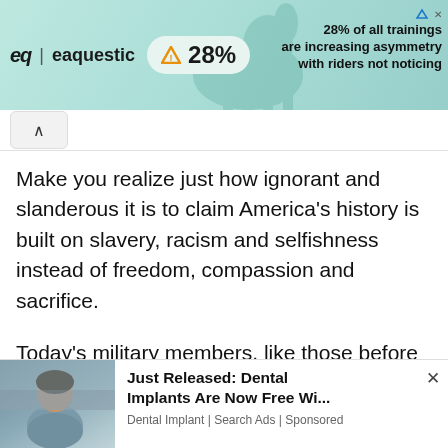[Figure (screenshot): Top advertisement banner for 'equestic' app showing warning triangle with 28% and text '28% of all trainings are increasing asymmetry with riders not noticing']
Make you realize just how ignorant and slanderous it is to claim America's history is built on slavery, racism and selfishness instead of freedom, compassion and sacrifice.
Today's military members, like those before them, risk their lives to protect the cherished American principles of liberty, equality, democracy, fighting
[Figure (screenshot): Bottom advertisement: 'Just Released: Dental Implants Are Now Free Wi...' with photo of a woman, from 'Dental Implant | Search Ads | Sponsored']